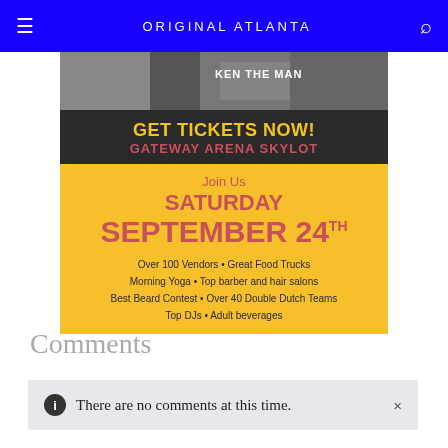ORIGINAL ATLANTA
[Figure (screenshot): Event advertisement for Gateway Arena Skylot. Black and white photo strip at top showing people with text KEN THE MAN. Dark banner reading GET TICKETS NOW! GATEWAY ARENA SKYLOT. Yellow section with text: Join Us, SATURDAY, SEPTEMBER 24TH, Over 100 Vendors • Great Food Trucks, Morning Yoga • Top barber and hair salons, Best Beard Contest • Over 40 Double Dutch Teams, Top DJs • Adult beverages]
Comments
There are no comments at this time.